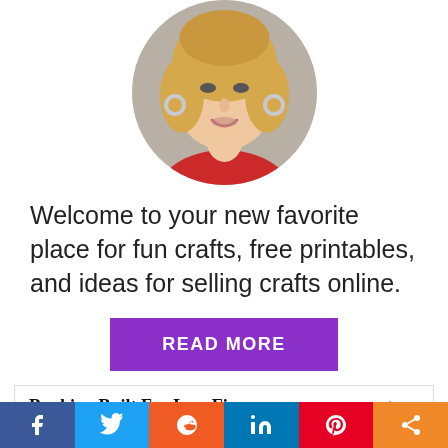[Figure (photo): Circular cropped headshot of a blonde woman wearing a red top and silver hoop earrings, smiling]
Welcome to your new favorite place for fun crafts, free printables, and ideas for selling crafts online.
READ MORE
[Figure (infographic): Advertisement box: Banking Built For Law Firms — One Platform to Handle All Your Banking Needs, so You Can Focus on Being a Lawyer.]
[Figure (infographic): Social share bar with icons for Facebook, Twitter, Reddit, LinkedIn, Pinterest, and a generic share icon]